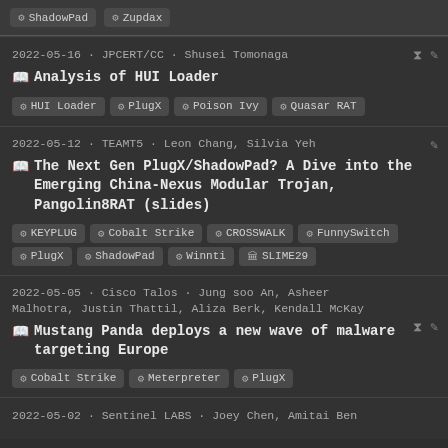ShadowPad | Zupdax
2022-05-16 · JPCERT/CC · Shusei Tomonaga
Analysis of HUI Loader
Tags: HUI Loader, PlugX, Poison Ivy, Quasar RAT
2022-05-12 · TEAMT5 · Leon Chang, Silvia Yeh
The Next Gen PlugX/ShadowPad? A Dive into the Emerging China-Nexus Modular Trojan, Pangolin8RAT (slides)
Tags: KEYPLUG, Cobalt Strike, CROSSWALK, FunnySwitch, PlugX, ShadowPad, Winnti, SLIME29
2022-05-05 · Cisco Talos · Jung soo An, Asheer Malhotra, Justin Thattil, Aliza Berk, Kendall McKay
Mustang Panda deploys a new wave of malware targeting Europe
Tags: Cobalt Strike, Meterpreter, PlugX
2022-05-02 · Sentinel LABS · Joey Chen, Amitai Ben